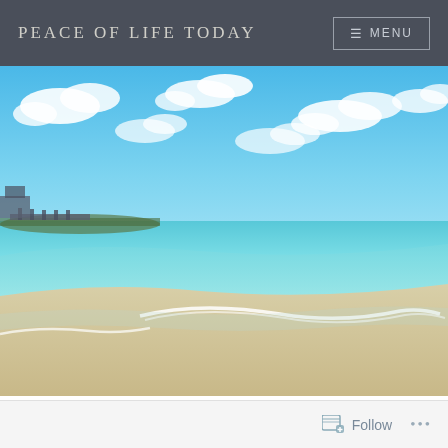PEACE OF LIFE TODAY | MENU
[Figure (photo): Tropical beach scene with turquoise water, white sand, gentle waves, blue sky with white clouds, and a pier visible in the background on the left]
Follow ...